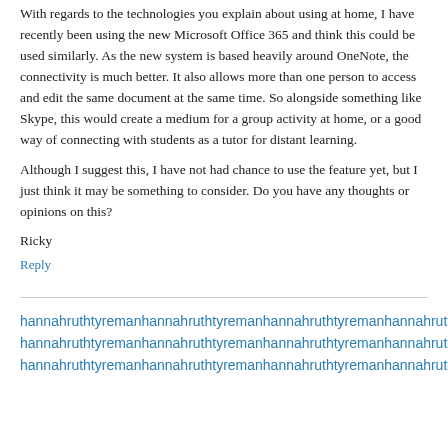With regards to the technologies you explain about using at home, I have recently been using the new Microsoft Office 365 and think this could be used similarly. As the new system is based heavily around OneNote, the connectivity is much better. It also allows more than one person to access and edit the same document at the same time. So alongside something like Skype, this would create a medium for a group activity at home, or a good way of connecting with students as a tutor for distant learning.
Although I suggest this, I have not had chance to use the feature yet, but I just think it may be something to consider. Do you have any thoughts or opinions on this?
Ricky
Reply
hannahruthtyremanhannahruthtyremansays: 17 May 2014 at 10:40 pm
Hi Ricky, thanks for taking the time to leave me a